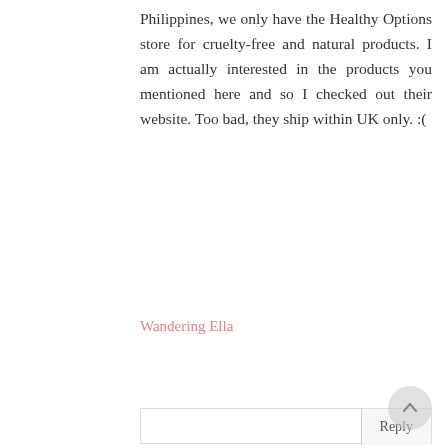Philippines, we only have the Healthy Options store for cruelty-free and natural products. I am actually interested in the products you mentioned here and so I checked out their website. Too bad, they ship within UK only. :(
Wandering Ella
Reply
Marina Rosie
5 June 2018 at 13:24
Hi there! x Thanks very much for reading and I'm glad that you also try to take initiative and use natural products - they're so much better for your face and body so I'm trying to use less chemical products in the year of 2018. I'm stoked that you're interested in these but very sorry; I don't even think their other website, as